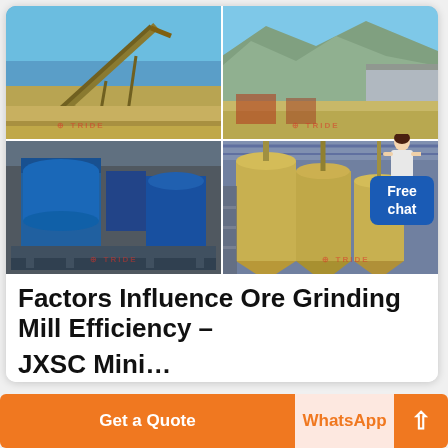[Figure (photo): Four-panel photo collage of mining/grinding equipment: top-left shows a large belt conveyor/crane at a mining site under blue sky; top-right shows an open-pit mining site with mountains and industrial buildings; bottom-left shows blue VSI crusher/grinding mill machines; bottom-right shows yellow industrial silos and grinding mill equipment inside a facility. 'TRIDE' watermark appears on each photo.]
Factors Influence Ore Grinding Mill Efficiency - JXSC Mining
Get a Quote
WhatsApp